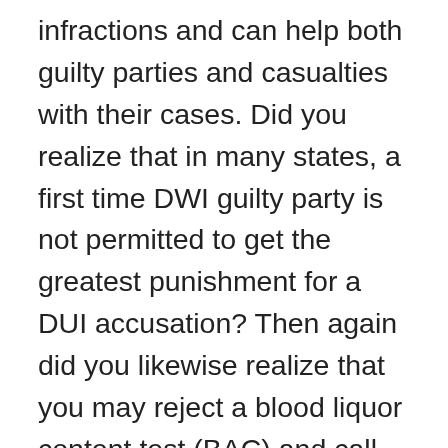infractions and can help both guilty parties and casualties with their cases. Did you realize that in many states, a first time DWI guilty party is not permitted to get the greatest punishment for a DUI accusation? Then again did you likewise realize that you may reject a blood liquor content test (BAC) and call nearby legal counselors? The responses to every one of these inquiries – and the sky is the limit from there – can be replied with the assistance of a premium DWI lawyer found on our system. will attempt to help you get your charges rejected, lower or drop your fines, finish all important printed material, and manage insurance agencies and different gatherings that are included in the DUI case. With any lawyer on our system, wrongdoers acquire the most elevated quality help